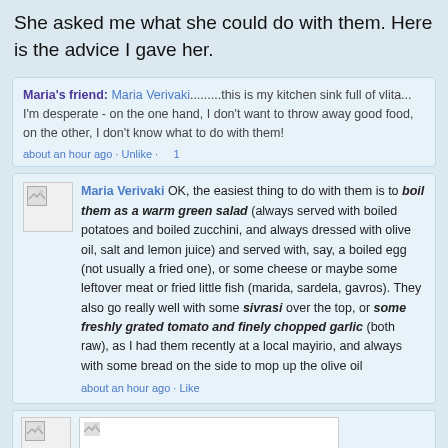She asked me what she could do with them. Here is the advice I gave her.
Maria's friend: Maria Verivaki.........this is my kitchen sink full of vlita... I'm desperate - on the one hand, I don't want to throw away good food, on the other, I don't know what to do with them!
about an hour ago · Unlike · 1
Maria Verivaki OK, the easiest thing to do with them is to boil them as a warm green salad (always served with boiled potatoes and boiled zucchini, and always dressed with olive oil, salt and lemon juice) and served with, say, a boiled egg (not usually a fried one), or some cheese or maybe some leftover meat or fried little fish (marida, sardela, gavros). They also go really well with some sivrasi over the top, or some freshly grated tomato and finely chopped garlic (both raw), as I had them recently at a local mayirio, and always with some bread on the side to mop up the olive oil
about an hour ago · Like
[Figure (screenshot): Bottom post with avatar placeholder and image placeholder area]